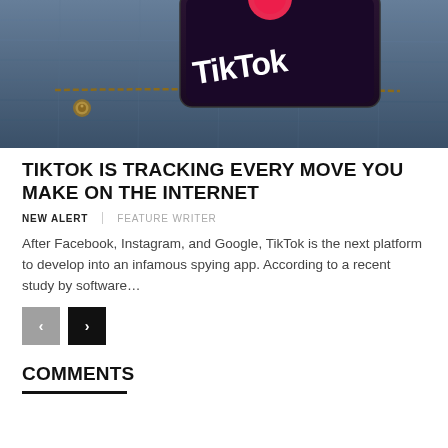[Figure (photo): A smartphone showing the TikTok logo in white text on a dark background, partially tucked into a denim jeans pocket with visible stitching and a metal button.]
TIKTOK IS TRACKING EVERY MOVE YOU MAKE ON THE INTERNET
NEW ALERT   FEATURE WRITER
After Facebook, Instagram, and Google, TikTok is the next platform to develop into an infamous spying app. According to a recent study by software...
COMMENTS